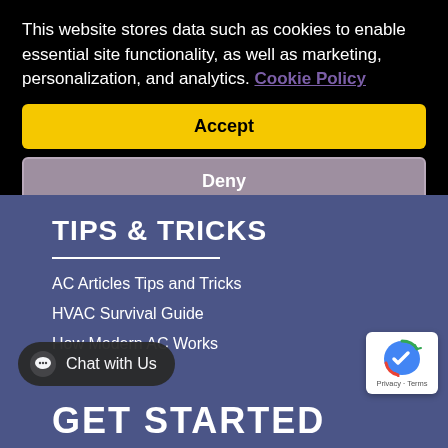This website stores data such as cookies to enable essential site functionality, as well as marketing, personalization, and analytics. Cookie Policy
Accept
Deny
TIPS & TRICKS
AC Articles Tips and Tricks
HVAC Survival Guide
How Modern AC Works
Chat with Us
GET STARTED
[Figure (logo): reCAPTCHA logo badge with 'Privacy - Terms' text]